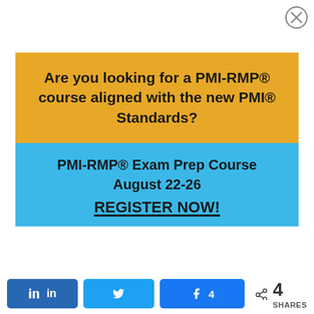[Figure (other): Close/dismiss button (circle with X) in top-right corner]
Are you looking for a PMI-RMP® course aligned with the new PMI® Standards?
PMI-RMP® Exam Prep Course
August 22-26
REGISTER NOW!
in  [Twitter bird]  [Facebook] 4  < 4 SHARES